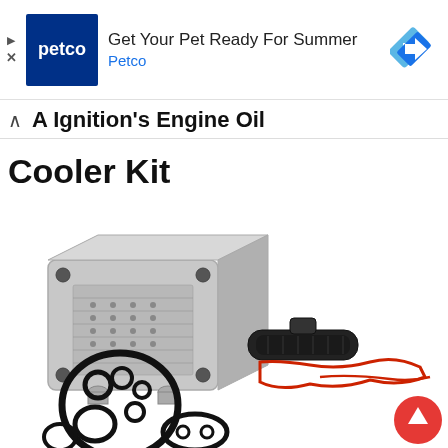[Figure (other): Petco advertisement banner with Petco logo (white text on dark blue background), headline 'Get Your Pet Ready For Summer', brand name 'Petco' in blue, and a navigation arrow diamond icon on the right. Ad close and play icons on the far left.]
A Ignition's Engine Oil Cooler Kit
[Figure (photo): Product photo of an engine oil cooler kit showing a silver aluminum oil cooler unit with fins and mounting holes, a black rubber filter/gasket strip, multiple black O-rings of various sizes, a red silicone gasket/seal outline, and a red circle with upward arrow (scroll-to-top button) in the bottom right corner.]